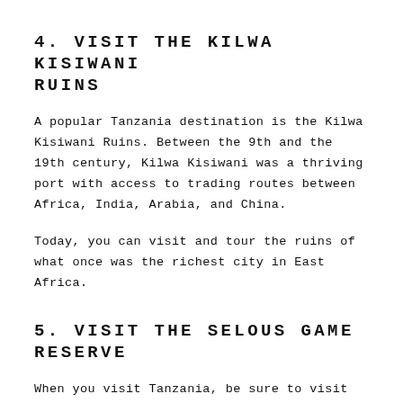4. VISIT THE KILWA KISIWANI RUINS
A popular Tanzania destination is the Kilwa Kisiwani Ruins. Between the 9th and the 19th century, Kilwa Kisiwani was a thriving port with access to trading routes between Africa, India, Arabia, and China.
Today, you can visit and tour the ruins of what once was the richest city in East Africa.
5. VISIT THE SELOUS GAME RESERVE
When you visit Tanzania, be sure to visit Africa's oldest and largest game reserve on a pristine wilderness.